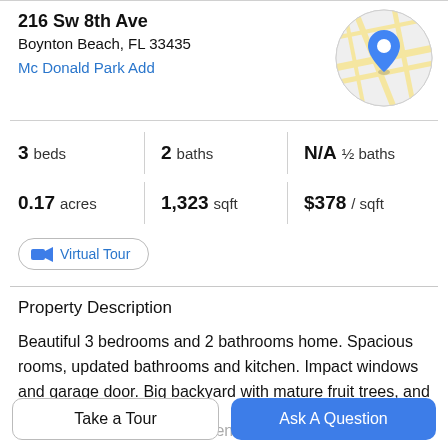216 Sw 8th Ave
Boynton Beach, FL 33435
Mc Donald Park Add
[Figure (map): Circular map thumbnail with a blue location pin marker]
3 beds | 2 baths | N/A ½ baths
0.17 acres | 1,323 sqft | $378 / sqft
Virtual Tour
Property Description
Beautiful 3 bedrooms and 2 bathrooms home. Spacious rooms, updated bathrooms and kitchen. Impact windows and garage door. Big backyard with mature fruit trees, and
ample space for a pool and entertaining area. completely
Take a Tour
Ask A Question